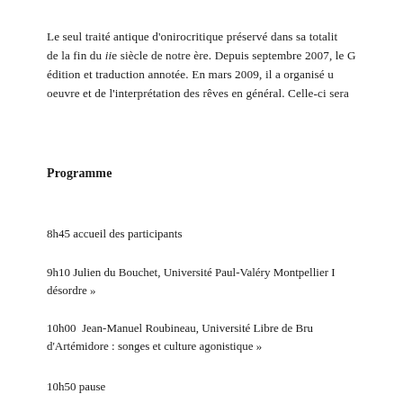Le seul traité antique d'onirocritique préservé dans sa totalité, de la fin du iie siècle de notre ère. Depuis septembre 2007, le G édition et traduction annotée. En mars 2009, il a organisé un oeuvre et de l'interprétation des rêves en général. Celle-ci sera
Programme
8h45 accueil des participants
9h10 Julien du Bouchet, Université Paul-Valéry Montpellier I désordre »
10h00 Jean-Manuel Roubineau, Université Libre de Bru d'Artémidore : songes et culture agonistique »
10h50 pause